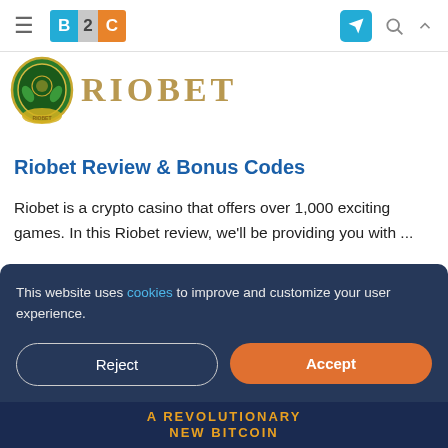B2C (logo) — navigation bar with hamburger menu, Telegram icon, search, and arrow icons
[Figure (logo): Riobet casino badge/medallion logo in green and gold with the word RIOBET in large gold serif letters]
Riobet Review & Bonus Codes
Riobet is a crypto casino that offers over 1,000 exciting games. In this Riobet review, we'll be providing you with ...
Read More
This website uses cookies to improve and customize your user experience.
Reject
Accept
A REVOLUTIONARY NEW BITCOIN